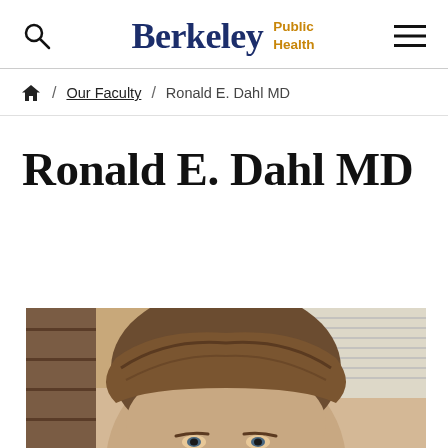Berkeley Public Health
Home / Our Faculty / Ronald E. Dahl MD
Ronald E. Dahl MD
[Figure (photo): Headshot photograph of Ronald E. Dahl MD, a man with brown hair, partially cropped showing face and top of head, in an office or indoor setting]